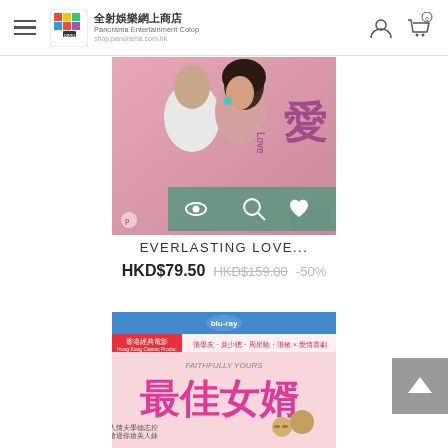全射娛樂網上商店 Panorama Entertainment Colop shop.panorama.com.hk
[Figure (photo): DVD/Blu-ray product image for Everlasting Love - romantic film cover showing a couple about to kiss, with Chinese character 愛 and 'go Love' text, Blu-ray logo visible, with overlay action icons (eye, magnify, heart)]
EVERLASTING LOVE...
HKD$79.50  HKD$159.00  -50%
[Figure (photo): DVD/Blu-ray product image for 最佳女婿 (Faithfully Yours) - Hong Kong classic film cover with prominent Chinese text and characters, Blu-ray logo, featuring Jackie Chan era comedy film artwork with actors]